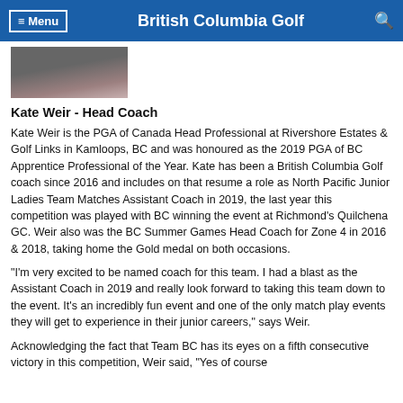≡ Menu   British Columbia Golf   🔍
[Figure (photo): Partial photo of a person, cropped at the top, showing dark clothing with pink accents.]
Kate Weir - Head Coach
Kate Weir is the PGA of Canada Head Professional at Rivershore Estates & Golf Links in Kamloops, BC and was honoured as the 2019 PGA of BC Apprentice Professional of the Year. Kate has been a British Columbia Golf coach since 2016 and includes on that resume a role as North Pacific Junior Ladies Team Matches Assistant Coach in 2019, the last year this competition was played with BC winning the event at Richmond's Quilchena GC. Weir also was the BC Summer Games Head Coach for Zone 4 in 2016 & 2018, taking home the Gold medal on both occasions.
"I'm very excited to be named coach for this team. I had a blast as the Assistant Coach in 2019 and really look forward to taking this team down to the event. It's an incredibly fun event and one of the only match play events they will get to experience in their junior careers," says Weir.
Acknowledging the fact that Team BC has its eyes on a fifth consecutive victory in this competition, Weir said, "Yes of course